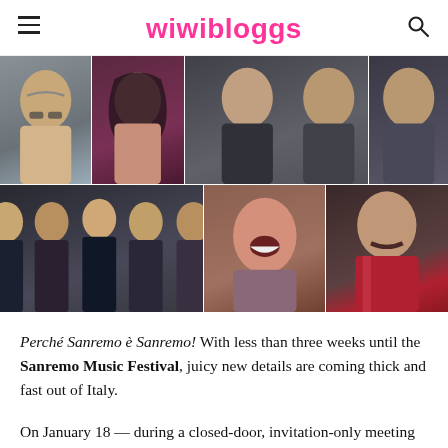wiwibloggs
[Figure (photo): Collage of six artist photos arranged in two rows: top row has three portrait photos (older man with glasses, woman with dark hair, two men together, man), bottom row has a wide group photo of five men in suits and two individual portrait photos (woman with open mouth laughing, man with mustache in red jacket).]
Perché Sanremo è Sanremo! With less than three weeks until the Sanremo Music Festival, juicy new details are coming thick and fast out of Italy.
On January 18 — during a closed-door, invitation-only meeting held at RAI television studios in Milan — journalists and bloggers from the most important